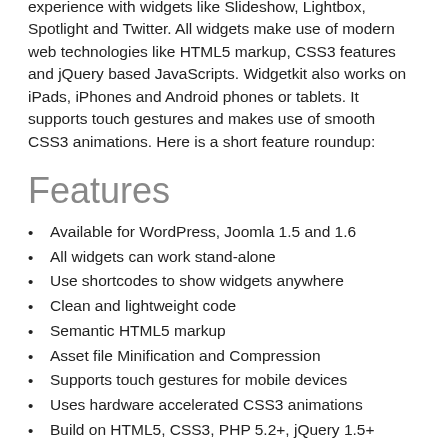experience with widgets like Slideshow, Lightbox, Spotlight and Twitter. All widgets make use of modern web technologies like HTML5 markup, CSS3 features and jQuery based JavaScripts. Widgetkit also works on iPads, iPhones and Android phones or tablets. It supports touch gestures and makes use of smooth CSS3 animations. Here is a short feature roundup:
Features
Available for WordPress, Joomla 1.5 and 1.6
All widgets can work stand-alone
Use shortcodes to show widgets anywhere
Clean and lightweight code
Semantic HTML5 markup
Asset file Minification and Compression
Supports touch gestures for mobile devices
Uses hardware accelerated CSS3 animations
Build on HTML5, CSS3, PHP 5.2+, jQuery 1.5+